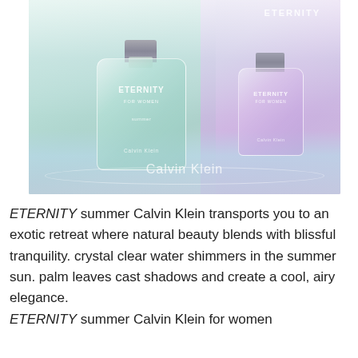[Figure (photo): Calvin Klein Eternity Summer fragrance advertisement showing two perfume bottles — a larger mint/green bottle and a smaller pink/lavender bottle — set against a dreamy water backdrop with soft reflections. The Calvin Klein logo appears at the bottom center of the image, and 'ETERNITY' text appears in the upper right.]
ETERNITY summer Calvin Klein transports you to an exotic retreat where natural beauty blends with blissful tranquility. crystal clear water shimmers in the summer sun. palm leaves cast shadows and create a cool, airy elegance. ETERNITY summer Calvin Klein for women